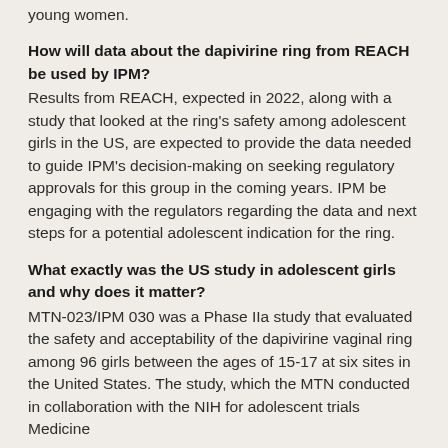young women.
How will data about the dapivirine ring from REACH be used by IPM?
Results from REACH, expected in 2022, along with a study that looked at the ring’s safety among adolescent girls in the US, are expected to provide the data needed to guide IPM’s decision-making on seeking regulatory approvals for this group in the coming years. IPM be engaging with the regulators regarding the data and next steps for a potential adolescent indication for the ring.
What exactly was the US study in adolescent girls and why does it matter?
MTN-023/IPM 030 was a Phase IIa study that evaluated the safety and acceptability of the dapivirine vaginal ring among 96 girls between the ages of 15-17 at six sites in the United States. The study, which the MTN conducted in collaboration with the NIH for adolescent trials Medicine...